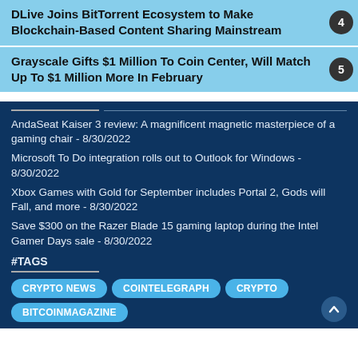DLive Joins BitTorrent Ecosystem to Make Blockchain-Based Content Sharing Mainstream
Grayscale Gifts $1 Million To Coin Center, Will Match Up To $1 Million More In February
AndaSeat Kaiser 3 review: A magnificent magnetic masterpiece of a gaming chair - 8/30/2022
Microsoft To Do integration rolls out to Outlook for Windows - 8/30/2022
Xbox Games with Gold for September includes Portal 2, Gods will Fall, and more - 8/30/2022
Save $300 on the Razer Blade 15 gaming laptop during the Intel Gamer Days sale - 8/30/2022
#TAGS
CRYPTO NEWS  COINTELEGRAPH  CRYPTO  BITCOINMAGAZINE